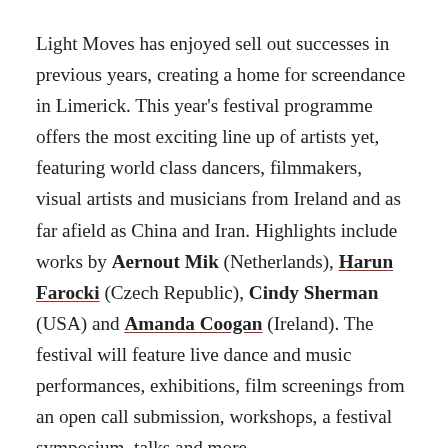Light Moves has enjoyed sell out successes in previous years, creating a home for screendance in Limerick. This year's festival programme offers the most exciting line up of artists yet, featuring world class dancers, filmmakers, visual artists and musicians from Ireland and as far afield as China and Iran. Highlights include works by Aernout Mik (Netherlands), Harun Farocki (Czech Republic), Cindy Sherman (USA) and Amanda Coogan (Ireland). The festival will feature live dance and music performances, exhibitions, film screenings from an open call submission, workshops, a festival symposium, talks and more.